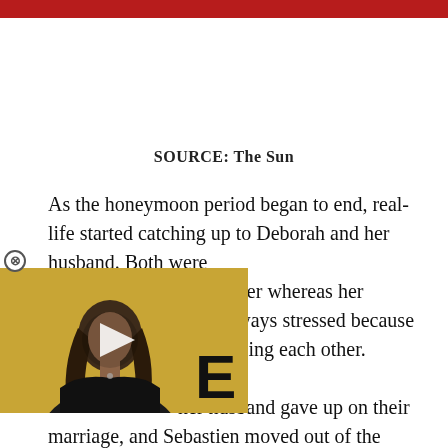SOURCE: The Sun
As the honeymoon period began to end, real-life started catching up to Deborah and her husband. Both were [partially obscured] a teacher whereas her [partially obscured] were always stressed because [partially obscured] arted seeing each other. [partially obscured] her husband gave up on their marriage, and Sebastien moved out of the house. Soon after that, the pair started the divorce process and
[Figure (photo): A man with long dark hair at what appears to be an entertainment event, with a yellow/gold background and a large letter E visible. A video play button overlay is shown on the image.]